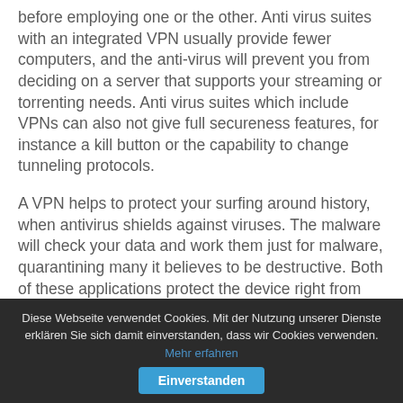before employing one or the other. Anti virus suites with an integrated VPN usually provide fewer computers, and the anti-virus will prevent you from deciding on a server that supports your streaming or torrenting needs. Anti virus suites which include VPNs can also not give full secureness features, for instance a kill button or the capability to change tunneling protocols.
A VPN helps to protect your surfing around history, when antivirus shields against viruses. The malware will check your data and work them just for malware, quarantining many it believes to be destructive. Both of these applications protect the device right from malware, and they can back
Diese Webseite verwendet Cookies. Mit der Nutzung unserer Dienste erklären Sie sich damit einverstanden, dass wir Cookies verwenden. Mehr erfahren [Einverstanden]